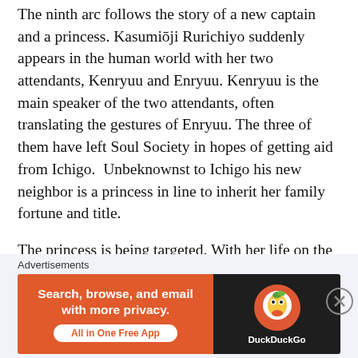The ninth arc follows the story of a new captain and a princess. Kasumiōji Rurichiyo suddenly appears in the human world with her two attendants, Kenryuu and Enryuu. Kenryuu is the main speaker of the two attendants, often translating the gestures of Enryuu. The three of them have left Soul Society in hopes of getting aid from Ichigo.  Unbeknownst to Ichigo his new neighbor is a princess in line to inherit her family fortune and title.
The princess is being targeted. With her life on the line Ichigo steps in and helps to protect her from the various assassins that attack. Ichigo charges his way straight into the murky waters of a political plot all the while trying to rescue the princess who has
Advertisements
[Figure (other): DuckDuckGo advertisement banner. Orange left panel with text 'Search, browse, and email with more privacy. All in One Free App'. Dark right panel with DuckDuckGo duck logo and brand name.]